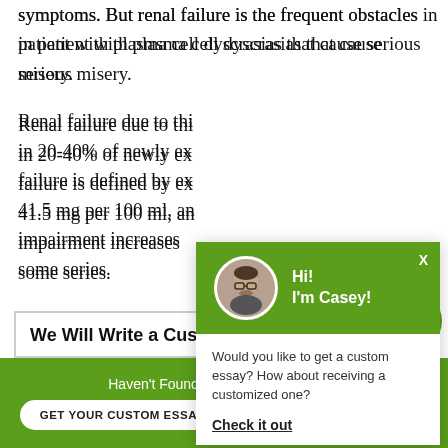symptoms. But renal failure is the frequent obstacles in patient with plasma cell dyscrasias that cause serious misery.
Renal failure due to this complication is identified in 20-40% of newly ex... failure is defined by ex... 41.5 mg per 100 ml, an... impairment increases... some series.
[Figure (screenshot): Chat popup with green header showing avatar of Casey, greeting 'Hi! I'm Casey!', body text 'Would you like to get a custom essay? How about receiving a customized one?', and a 'Check it out' link.]
We Will Write a Custom Essay Specifi...
Haven't Found The Essay You Want?
GET YOUR CUSTOM ESSAY   For Only $13.90/page